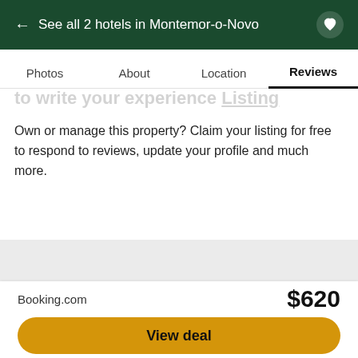← See all 2 hotels in Montemor-o-Novo
Photos  About  Location  Reviews
to write your experience listing
Own or manage this property? Claim your listing for free to respond to reviews, update your profile and much more.
Claim Your Listing
Booking.com  $620
View deal